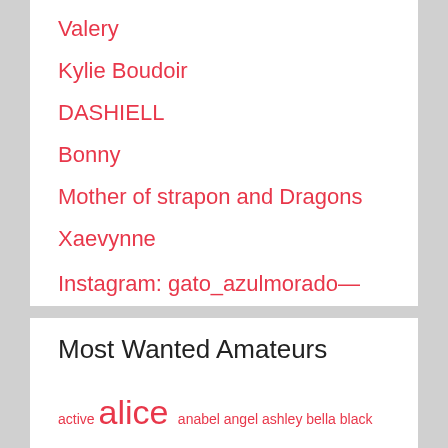Valery
Kylie Boudoir
DASHIELL
Bonny
Mother of strapon and Dragons
Xaevynne
Instagram: gato_azulmorado— https://onlyfans.com/kate_yoshy
Most Wanted Amateurs
active alice anabel angel ashley bella black blond blonde boobs brunette candy chaturbate couple david emily